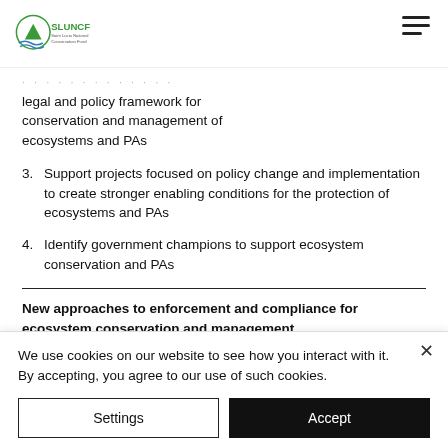SLUNCF
legal and policy framework for conservation and management of ecosystems and PAs
3. Support projects focused on policy change and implementation to create stronger enabling conditions for the protection of ecosystems and PAs
4. Identify government champions to support ecosystem conservation and PAs
New approaches to enforcement and compliance for ecosystem conservation and management
We use cookies on our website to see how you interact with it. By accepting, you agree to our use of such cookies.